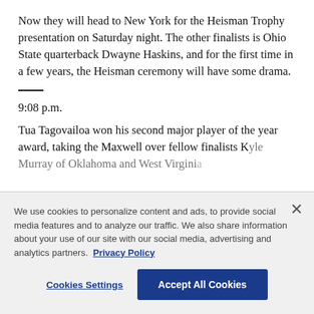Now they will head to New York for the Heisman Trophy presentation on Saturday night. The other finalists is Ohio State quarterback Dwayne Haskins, and for the first time in a few years, the Heisman ceremony will have some drama.
9:08 p.m.
Tua Tagovailoa won his second major player of the year award, taking the Maxwell over fellow finalists Kyle Murray of Oklahoma and West Virginia...
We use cookies to personalize content and ads, to provide social media features and to analyze our traffic. We also share information about your use of our site with our social media, advertising and analytics partners. Privacy Policy